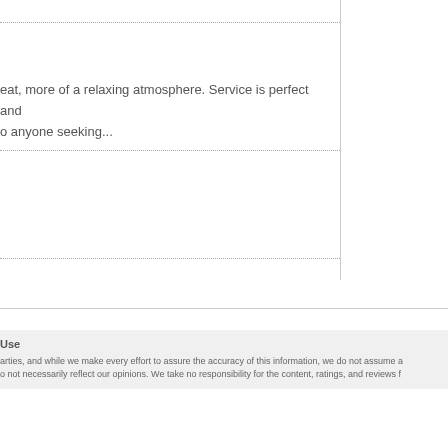eat, more of a relaxing atmosphere. Service is perfect and o anyone seeking...
Use
arties, and while we make every effort to assure the accuracy of this information, we do not assume a o not necessarily reflect our opinions. We take no responsibility for the content, ratings, and reviews f